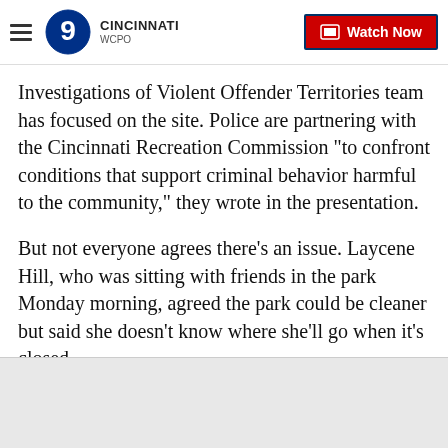WCPO 9 Cincinnati | Watch Now
Investigations of Violent Offender Territories team has focused on the site. Police are partnering with the Cincinnati Recreation Commission "to confront conditions that support criminal behavior harmful to the community," they wrote in the presentation.
But not everyone agrees there's an issue. Laycene Hill, who was sitting with friends in the park Monday morning, agreed the park could be cleaner but said she doesn't know where she'll go when it's closed.
"Where are we going to go now? I don't want the